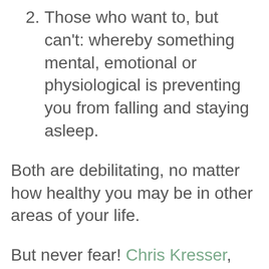2. Those who want to, but can't: whereby something mental, emotional or physiological is preventing you from falling and staying asleep.
Both are debilitating, no matter how healthy you may be in other areas of your life.
But never fear! Chris Kresser, my favourite functional medicine practitioner, is on it again. This article below is a great mix of conventional and